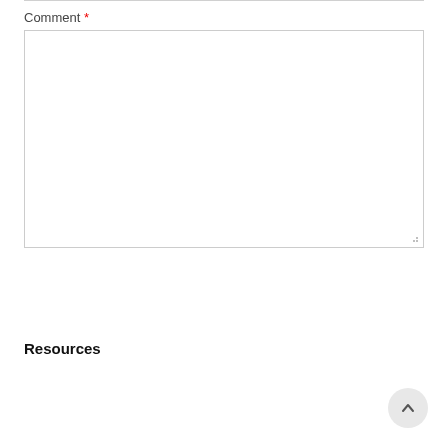Comment *
[Figure (screenshot): Empty text area input field with resize handle in bottom-right corner]
Post Comment (button)
Resources
Join a Webinar
Request a Demo